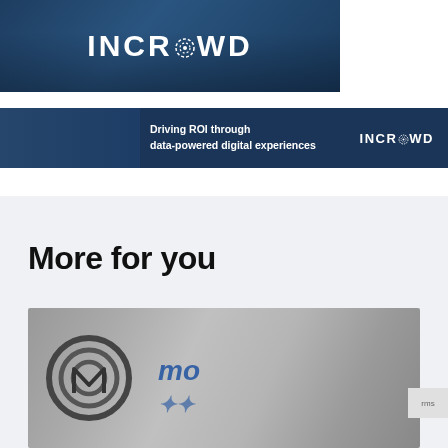[Figure (logo): INCROWD logo in white text on dark navy blue banner with crowd photo background]
[Figure (banner): INCROWD advertisement banner: 'Driving ROI through data-powered digital experiences' with INCROWD logo on dark navy background]
More for you
[Figure (photo): Close-up photo of a Motorola device/sign showing circular logo mark and partial 'moto' text in blue]